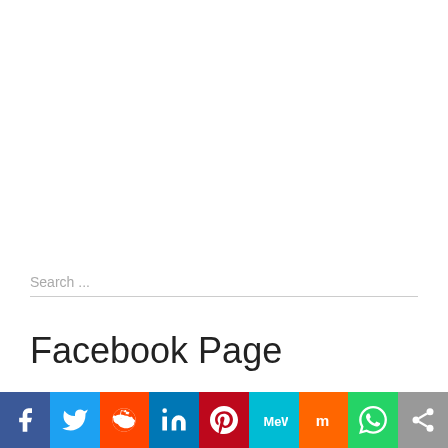Search ...
Facebook Page
[Figure (infographic): Social media sharing bar with icons: Facebook (blue), Twitter (light blue), Reddit (orange-red), LinkedIn (blue), Pinterest (dark red), MeWe (teal), Mix (orange), WhatsApp (green), More/Share (gray)]